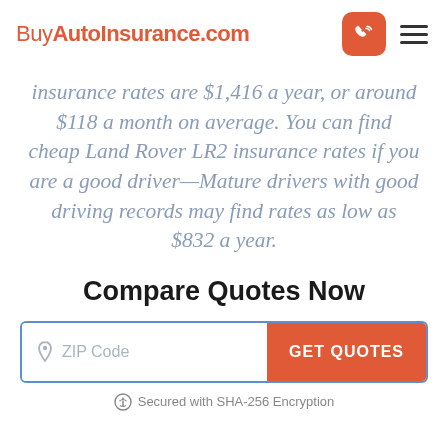BuyAutoInsurance.com
insurance rates are $1,416 a year, or around $118 a month on average. You can find cheap Land Rover LR2 insurance rates if you are a good driver—Mature drivers with good driving records may find rates as low as $832 a year.
Compare Quotes Now
ZIP Code — GET QUOTES
Secured with SHA-256 Encryption